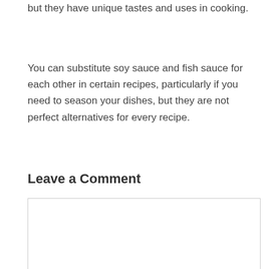but they have unique tastes and uses in cooking.
You can substitute soy sauce and fish sauce for each other in certain recipes, particularly if you need to season your dishes, but they are not perfect alternatives for every recipe.
Leave a Comment